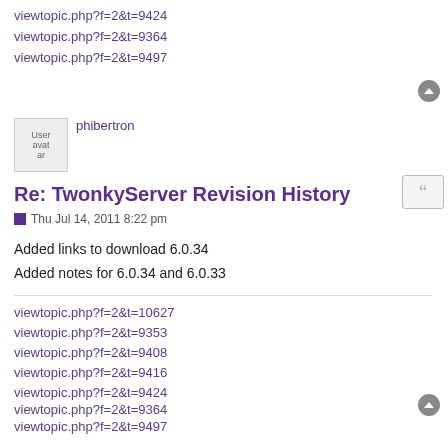viewtopic.php?f=2&t=9424
viewtopic.php?f=2&t=9364
viewtopic.php?f=2&t=9497
phibertron
Re: TwonkyServer Revision History
Thu Jul 14, 2011 8:22 pm
Added links to download 6.0.34
Added notes for 6.0.34 and 6.0.33
viewtopic.php?f=2&t=10627
viewtopic.php?f=2&t=9353
viewtopic.php?f=2&t=9408
viewtopic.php?f=2&t=9416
viewtopic.php?f=2&t=9424
viewtopic.php?f=2&t=9364
viewtopic.php?f=2&t=9497
phibertron
Re: TwonkyServer Revision History